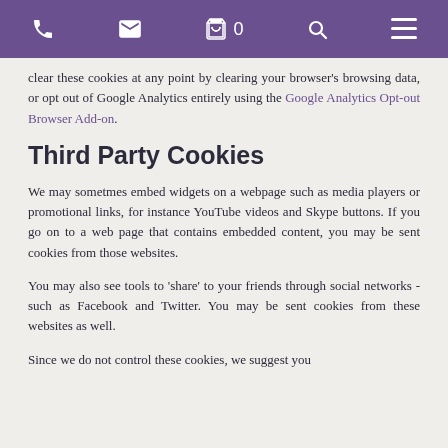[phone icon] [email icon] [basket icon] 0 [search icon] [menu icon]
clear these cookies at any point by clearing your browser's browsing data, or opt out of Google Analytics entirely using the Google Analytics Opt-out Browser Add-on.
Third Party Cookies
We may sometmes embed widgets on a webpage such as media players or promotional links, for instance YouTube videos and Skype buttons. If you go on to a web page that contains embedded content, you may be sent cookies from those websites.
You may also see tools to 'share' to your friends through social networks - such as Facebook and Twitter. You may be sent cookies from these websites as well.
Since we do not control these cookies, we suggest you